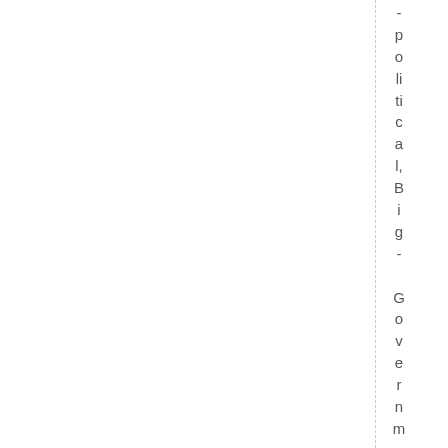-political Big Government, Poli